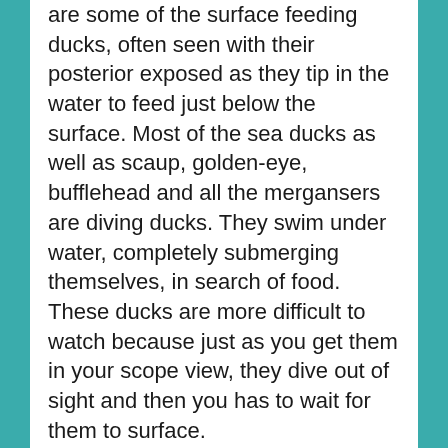are some of the surface feeding ducks, often seen with their posterior exposed as they tip in the water to feed just below the surface. Most of the sea ducks as well as scaup, golden-eye, bufflehead and all the mergansers are diving ducks. They swim under water, completely submerging themselves, in search of food. These ducks are more difficult to watch because just as you get them in your scope view, they dive out of sight and then you has to wait for them to surface.

Scores of ring-necked and ruddy ducks, which are also diving ducks, have already arrived at the Cherry Hill Reservoir in West Newbury along with a few scaup, American mergansers and American coot. Coot are small, black hen-like ducks with white bills that are fun to watch. Unlike mallards